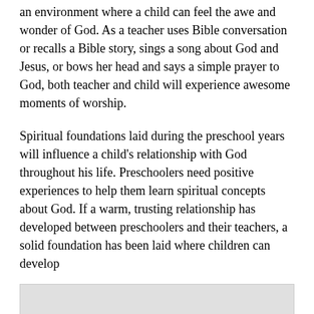an environment where a child can feel the awe and wonder of God. As a teacher uses Bible conversation or recalls a Bible story, sings a song about God and Jesus, or bows her head and says a simple prayer to God, both teacher and child will experience awesome moments of worship.
Spiritual foundations laid during the preschool years will influence a child's relationship with God throughout his life. Preschoolers need positive experiences to help them learn spiritual concepts about God. If a warm, trusting relationship has developed between preschoolers and their teachers, a solid foundation has been laid where children can develop
[Figure (photo): A faded/greyed out photograph or image, content not clearly visible]
in the way teachers should help preschoolers grow and